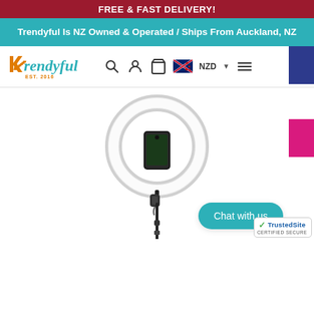FREE & FAST DELIVERY!
Trendyful Is NZ Owned & Operated / Ships From Auckland, NZ
[Figure (logo): Trendyful logo with teal italic text and orange K, EST 2016 subtitle]
[Figure (screenshot): Navigation bar with search, user, cart icons, NZ flag with NZD currency selector, hamburger menu, blue and pink sidebar tabs]
[Figure (photo): Ring light with phone holder mounted on a telescoping selfie stick stand, product photo on white background]
Chat with us
[Figure (logo): TrustedSite Certified Secure badge with green checkmark]